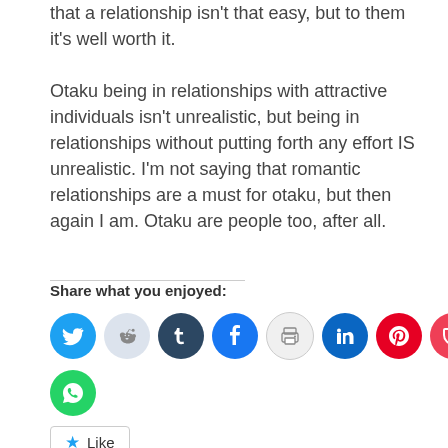that a relationship isn't that easy, but to them it's well worth it.
Otaku being in relationships with attractive individuals isn't unrealistic, but being in relationships without putting forth any effort IS unrealistic. I'm not saying that romantic relationships are a must for otaku, but then again I am. Otaku are people too, after all.
Share what you enjoyed:
[Figure (infographic): Row of social media share icon buttons: Twitter (blue), Reddit (light blue-grey), Tumblr (dark blue), Facebook (blue), Print (grey outline), LinkedIn (dark blue), Pinterest (red), Pocket (red), Telegram (blue), and WhatsApp (green)]
Like
Be the first to like this.